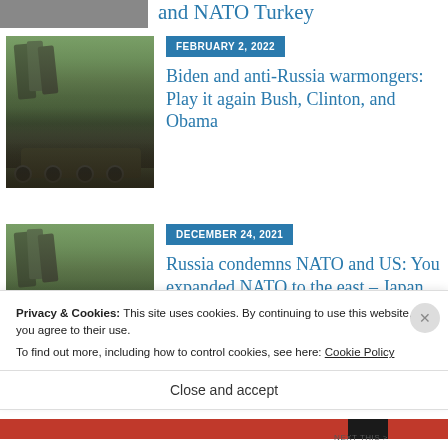and NATO Turkey
[Figure (photo): Military missile launcher vehicle parked outdoors with trees in background]
FEBRUARY 2, 2022
Biden and anti-Russia warmongers: Play it again Bush, Clinton, and Obama
[Figure (photo): Military missile launcher vehicle parked outdoors with trees in background]
DECEMBER 24, 2021
Russia condemns NATO and US: You expanded NATO to the east – Japan and South Korea
Privacy & Cookies: This site uses cookies. By continuing to use this website, you agree to their use.
To find out more, including how to control cookies, see here: Cookie Policy
Close and accept